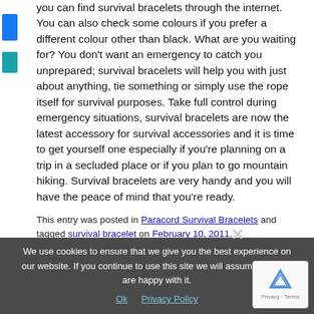you can find survival bracelets through the internet. You can also check some colours if you prefer a different colour other than black. What are you waiting for? You don't want an emergency to catch you unprepared; survival bracelets will help you with just about anything, tie something or simply use the rope itself for survival purposes. Take full control during emergency situations, survival bracelets are now the latest accessory for survival accessories and it is time to get yourself one especially if you're planning on a trip in a secluded place or if you plan to go mountain hiking. Survival bracelets are very handy and you will have the peace of mind that you're ready.
This entry was posted in Paracord Survival Bracelets and tagged survival bracelet on February 10, 2011.
We use cookies to ensure that we give you the best experience on our website. If you continue to use this site we will assume that you are happy with it. Ok  Privacy Policy